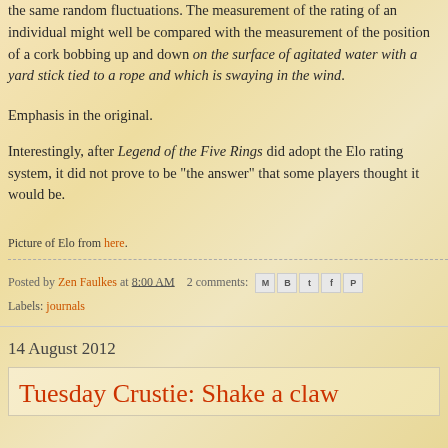the same random fluctuations. The measurement of the rating of an individual might well be compared with the measurement of the position of a cork bobbing up and down on the surface of agitated water with a yard stick tied to a rope and which is swaying in the wind.
Emphasis in the original.
Interestingly, after Legend of the Five Rings did adopt the Elo rating system, it did not prove to be "the answer" that some players thought it would be.
Picture of Elo from here.
Posted by Zen Faulkes at 8:00 AM   2 comments:
Labels: journals
14 August 2012
Tuesday Crustie: Shake a claw